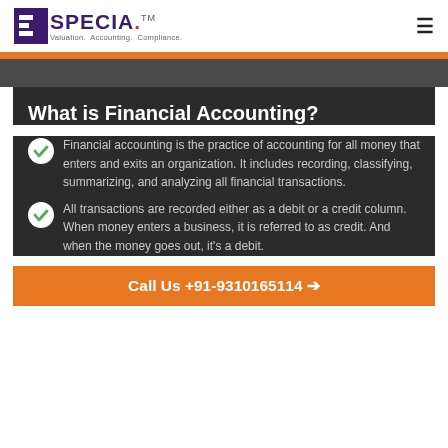ESPECIA™ — Valuation. Accounting. Compliance.
What is Financial Accounting?
Financial accounting is the practice of accounting for all money that enters and exits an organization. It includes recording, classifying, summarizing, and analyzing all financial transactions.
All transactions are recorded either as a debit or a credit column. When money enters a business, it is referred to as credit. And when the money goes out, it's a debit.
Call Us +91-9310165114 →